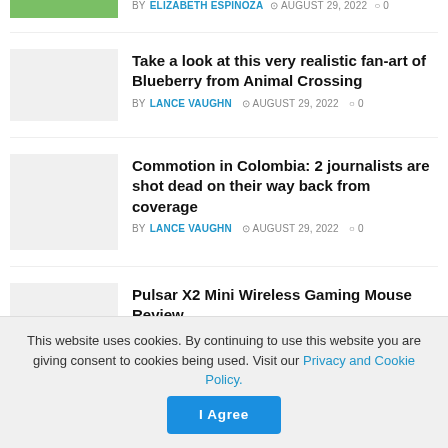Take a look at this very realistic fan-art of Blueberry from Animal Crossing — BY LANCE VAUGHN AUGUST 29, 2022 0
Commotion in Colombia: 2 journalists are shot dead on their way back from coverage — BY LANCE VAUGHN AUGUST 29, 2022 0
Pulsar X2 Mini Wireless Gaming Mouse Review — BY LANCE VAUGHN AUGUST 29, 2022 0
Torn banknotes: how to exchange damaged paper money and which banks
This website uses cookies. By continuing to use this website you are giving consent to cookies being used. Visit our Privacy and Cookie Policy.